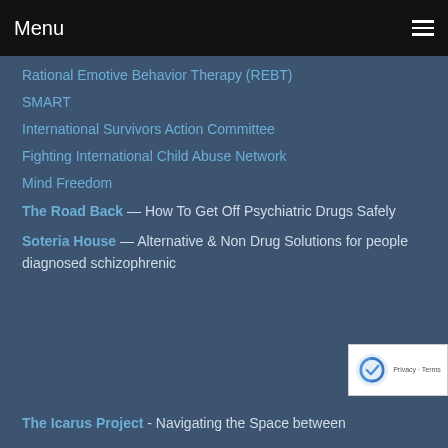Menu
Rational Emotive Behavior Therapy (REBT)
SMART
International Survivors Action Committee
Fighting International Child Abuse Network
Mind Freedom
The Road Back — How To Get Off Psychiatric Drugs Safely
Soteria House — Alternative & Non Drug Solutions for people diagnosed schizophrenic
The Icarus Project - Navigating the Space between